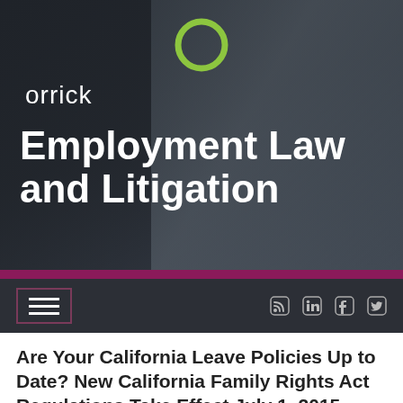[Figure (photo): Hero banner showing Orrick law firm branding with a dark overlay and background image of people in a meeting/discussion setting]
Employment Law and Litigation
orrick
Are Your California Leave Policies Up to Date? New California Family Rights Act Regulations Take Effect July 1, 2015